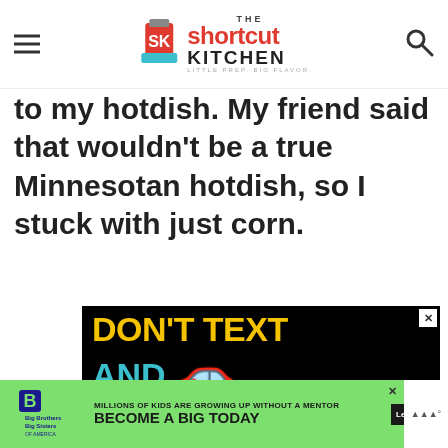The Shortcut Kitchen
to my hotdish. My friend said that wouldn't be a true Minnesotan hotdish, so I stuck with just corn.
[Figure (other): Advertisement with black background showing 'DON'T TEXT' in yellow and 'AND' in cyan with a red car emoji. Below is a Big Brothers Big Sisters banner ad: 'MILLIONS OF KIDS ARE GROWING UP WITHOUT A MENTOR - BECOME A BIG TODAY - Learn How']